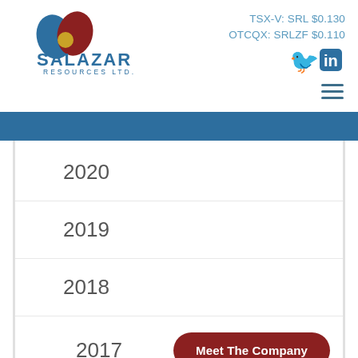[Figure (logo): Salazar Resources Ltd. logo with blue and red teardrop shapes and gold circle]
TSX-V: SRL $0.130
OTCQX: SRLZF $0.110
[Figure (other): Twitter and LinkedIn social media icons]
[Figure (other): Hamburger menu icon with three horizontal lines]
2020
2019
2018
2017
Meet The Company